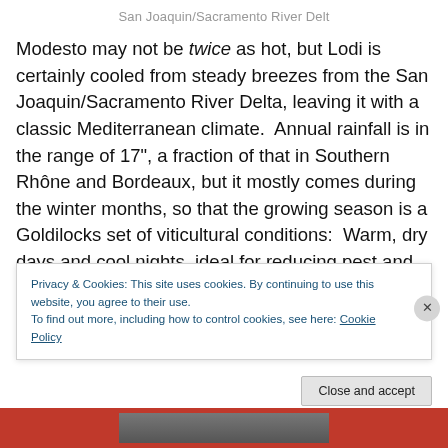San Joaquin/Sacramento River Delt
Modesto may not be twice as hot, but Lodi is certainly cooled from steady breezes from the San Joaquin/Sacramento River Delta, leaving it with a classic Mediterranean climate.  Annual rainfall is in the range of 17", a fraction of that in Southern Rhône and Bordeaux, but it mostly comes during the winter months, so that the growing season is a Goldilocks set of viticultural conditions:  Warm, dry days and cool nights, ideal for reducing pest and disease issues while allowing grapes to
Privacy & Cookies: This site uses cookies. By continuing to use this website, you agree to their use.
To find out more, including how to control cookies, see here: Cookie Policy